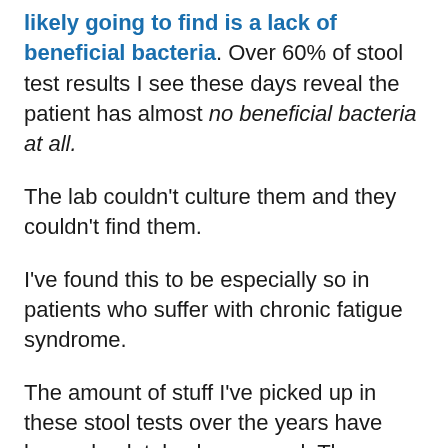likely going to find is a lack of beneficial bacteria. Over 60% of stool test results I see these days reveal the patient has almost no beneficial bacteria at all.
The lab couldn't culture them and they couldn't find them.
I've found this to be especially so in patients who suffer with chronic fatigue syndrome.
The amount of stuff I've picked up in these stool tests over the years have been absolutely phenomenal. The misdiagnoses, the screw ups from specialists, the complete stuff ups from other practitioners giving patients completely wrong advice because